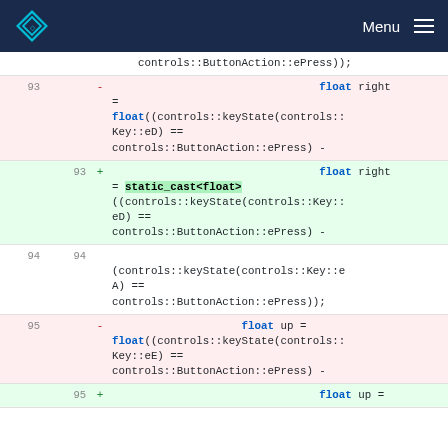CHIPS Menu
controls::ButtonAction::ePress));
93 - float right = float((controls::keyState(controls::Key::eD) == controls::ButtonAction::ePress) -
93 + float right = static_cast<float>((controls::keyState(controls::Key::eD) == controls::ButtonAction::ePress) -
94 94 (controls::keyState(controls::Key::eA) == controls::ButtonAction::ePress));
95 - float up = float((controls::keyState(controls::Key::eE) == controls::ButtonAction::ePress) -
95 + float up =